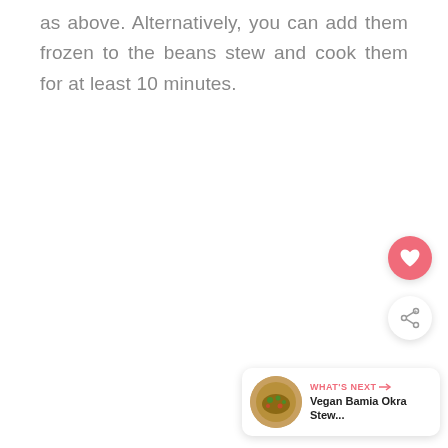as above. Alternatively, you can add them frozen to the beans stew and cook them for at least 10 minutes.
[Figure (other): Pink heart favorite button (circular pink button with white heart icon)]
[Figure (other): Share button (circular white button with share/network icon)]
[Figure (other): What's Next card showing Vegan Bamia Okra Stew... with a food thumbnail image]